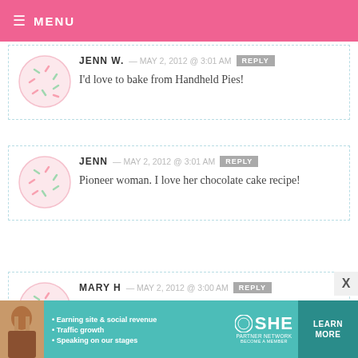≡ MENU
JENN W. — MAY 2, 2012 @ 3:01 AM  REPLY
I'd love to bake from Handheld Pies!
JENN — MAY 2, 2012 @ 3:01 AM  REPLY
Pioneer woman. I love her chocolate cake recipe!
MARY H — MAY 2, 2012 @ 3:00 AM  REPLY
[Figure (infographic): SHE Partner Network advertisement banner with woman photo, bullets about earning, traffic, speaking, SHE logo, and LEARN MORE button]